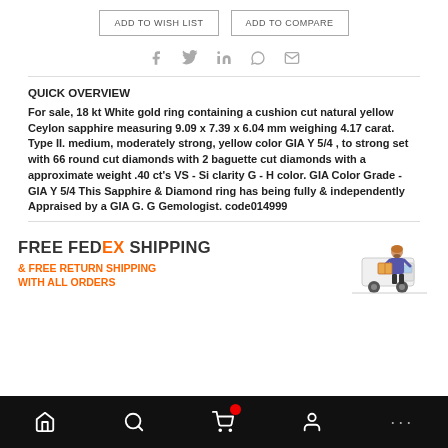[Figure (other): Two buttons: ADD TO WISH LIST and ADD TO COMPARE]
[Figure (other): Social sharing icons: Facebook, Twitter, LinkedIn, Pinterest, Email]
QUICK OVERVIEW
For sale, 18 kt White gold ring containing a cushion cut natural yellow Ceylon sapphire measuring 9.09 x 7.39 x 6.04 mm weighing 4.17 carat. Type II. medium, moderately strong, yellow color GIA Y 5/4 , to strong set with 66 round cut diamonds with 2 baguette cut diamonds with a approximate weight .40 ct's VS - Si clarity G - H color. GIA Color Grade - GIA Y 5/4 This Sapphire & Diamond ring has being fully & independently Appraised by a GIA G. G Gemologist. code014999
[Figure (infographic): FREE FEDEX SHIPPING & FREE RETURN SHIPPING WITH ALL ORDERS banner with delivery person and van illustration]
Home | Search | Cart | Account | More